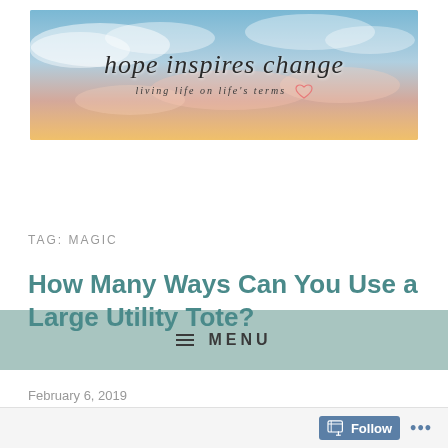[Figure (illustration): Blog header banner with sky/sunset photo background. Text reads 'hope inspires change' in cursive script, subtitle 'living life on life's terms' in small italic text, with a small heart outline icon.]
≡ MENU
TAG: MAGIC
How Many Ways Can You Use a Large Utility Tote?
February 6, 2019
Follow ...